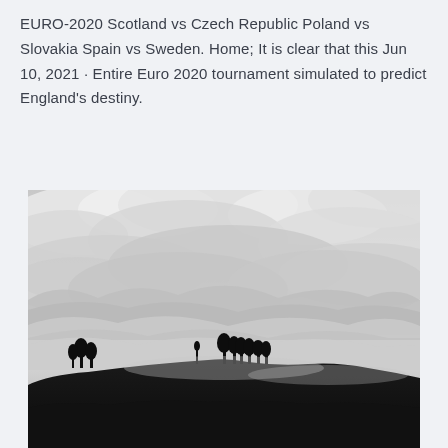EURO-2020 Scotland vs Czech Republic Poland vs Slovakia Spain vs Sweden. Home; It is clear that this Jun 10, 2021 · Entire Euro 2020 tournament simulated to predict England's destiny.
[Figure (photo): Black and white landscape photograph showing a misty hillside with trees silhouetted against a dramatic cloudy sky, with rolling fog or clouds filling the valleys.]